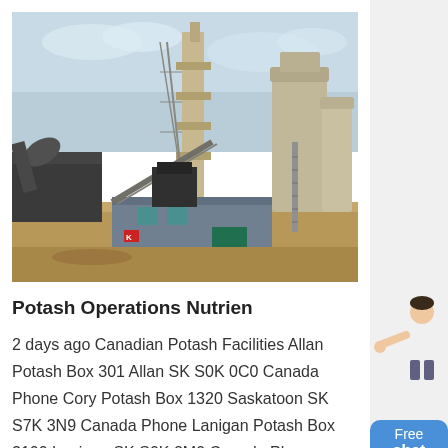[Figure (photo): Industrial potash mining facility with large processing towers, conveyor belts, machinery, and industrial buildings against an overcast sky]
Potash Operations Nutrien
2 days ago Canadian Potash Facilities Allan Potash Box 301 Allan SK S0K 0C0 Canada Phone Cory Potash Box 1320 Saskatoon SK S7K 3N9 Canada Phone Lanigan Potash Box 3100 Lanigan SK S0K 2M0 Canada Phone Patience Lake Potash Box 509 Patience Lake
[Figure (illustration): Chat widget with a person figure and a blue rounded button labeled Free chat]